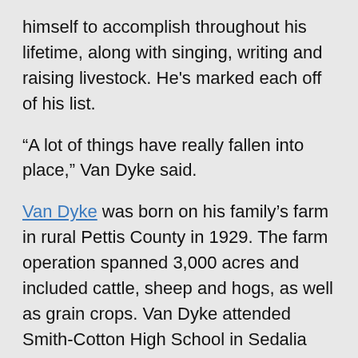himself to accomplish throughout his lifetime, along with singing, writing and raising livestock. He's marked each off of his list.
“A lot of things have really fallen into place,” Van Dyke said.
Van Dyke was born on his family’s farm in rural Pettis County in 1929. The farm operation spanned 3,000 acres and included cattle, sheep and hogs, as well as grain crops. Van Dyke attended Smith-Cotton High School in Sedalia and excelled as a student. His hard-working nature was honed on the family farm.
“The farm is where I really learned how to work,” Van Dyke said. “We did a little bit of everything, so I learned how to dehorn cattle, shear sheep, bale hay, work with mules, even move furniture, and that just scratches the surface. My dad, in addition to farming,